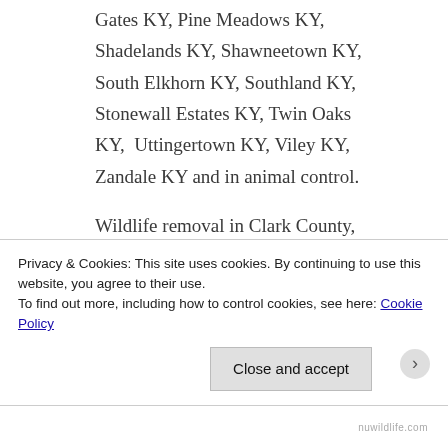Gates KY, Pine Meadows KY, Shadelands KY, Shawneetown KY, South Elkhorn KY, Southland KY, Stonewall Estates KY, Twin Oaks KY,  Uttingertown KY, Viley KY, Zandale KY and in animal control.
Wildlife removal in Clark County, Kentucky including Animal control in Bel Air, Bon Haven,
Privacy & Cookies: This site uses cookies. By continuing to use this website, you agree to their use.
To find out more, including how to control cookies, see here: Cookie Policy
Close and accept